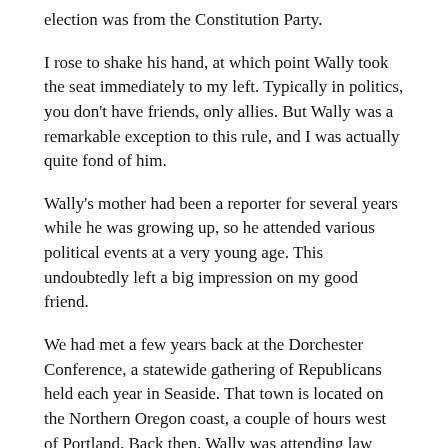election was from the Constitution Party.
I rose to shake his hand, at which point Wally took the seat immediately to my left. Typically in politics, you don't have friends, only allies. But Wally was a remarkable exception to this rule, and I was actually quite fond of him.
Wally's mother had been a reporter for several years while he was growing up, so he attended various political events at a very young age. This undoubtedly left a big impression on my good friend.
We had met a few years back at the Dorchester Conference, a statewide gathering of Republicans held each year in Seaside. That town is located on the Northern Oregon coast, a couple of hours west of Portland. Back then, Wally was attending law school at the University of Oregon. He came to Dorchester with a friend who had interned with a Congressional campaign that I worked on in 2004.
I was immediately impressed. Within a few hours of meeting Wally, I and many of my Dorchester friends were clamoring for him to run for office.